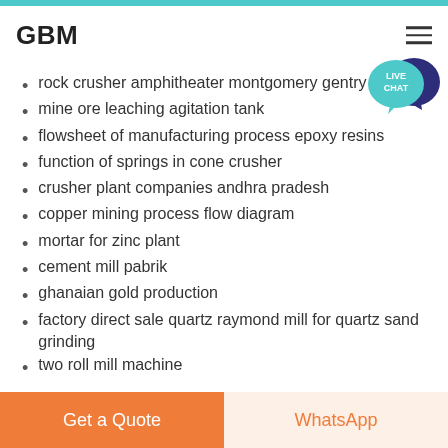GBM
rock crusher amphitheater montgomery gentry
mine ore leaching agitation tank
flowsheet of manufacturing process epoxy resins
function of springs in cone crusher
crusher plant companies andhra pradesh
copper mining process flow diagram
mortar for zinc plant
cement mill pabrik
ghanaian gold production
factory direct sale quartz raymond mill for quartz sand grinding
two roll mill machine